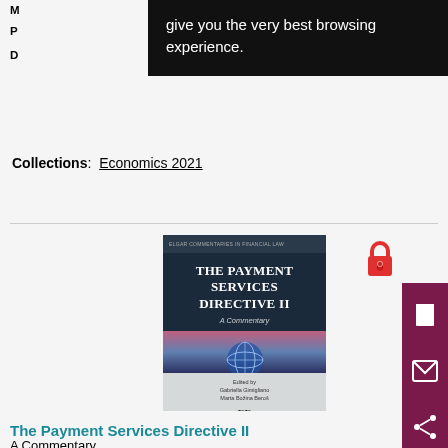[Figure (screenshot): Black tooltip/cookie consent overlay with white text: 'give you the very best browsing experience.']
Collections: Economics 2021
[Figure (photo): Book cover: 'The Payment Services Directive II – A Commentary', edited by Gabriella Gimigliano and Marta Božina Beroš, published by Edward Elgar]
The Payment Services Directive II
A Commentary
Editors: Gabriella Gimigliano and Marta Božina Beroš